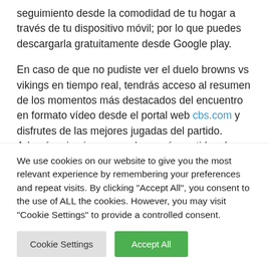seguimiento desde la comodidad de tu hogar a través de tu dispositivo móvil; por lo que puedes descargarla gratuitamente desde Google play.
En caso de que no pudiste ver el duelo browns vs vikings en tiempo real, tendrás acceso al resumen de los momentos más destacados del encuentro en formato vídeo desde el portal web cbs.com y disfrutes de las mejores jugadas del partido. Además, si quieres acceder a más partidos de otros deportes en vivo por internet
We use cookies on our website to give you the most relevant experience by remembering your preferences and repeat visits. By clicking "Accept All", you consent to the use of ALL the cookies. However, you may visit "Cookie Settings" to provide a controlled consent.
Cookie Settings   Accept All